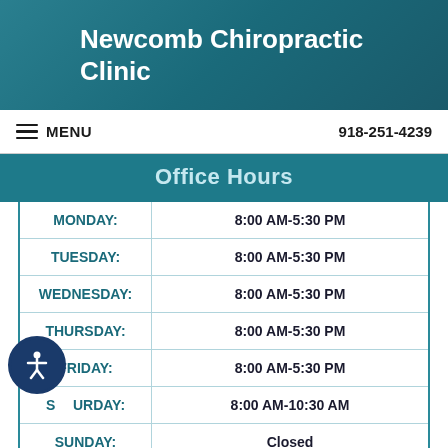Newcomb Chiropractic Clinic
MENU   918-251-4239
Office Hours
| Day | Hours |
| --- | --- |
| MONDAY: | 8:00 AM-5:30 PM |
| TUESDAY: | 8:00 AM-5:30 PM |
| WEDNESDAY: | 8:00 AM-5:30 PM |
| THURSDAY: | 8:00 AM-5:30 PM |
| FRIDAY: | 8:00 AM-5:30 PM |
| SATURDAY: | 8:00 AM-10:30 AM |
| SUNDAY: | Closed |